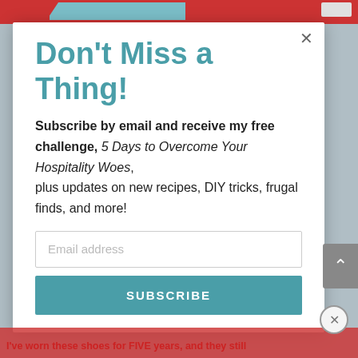Don't Miss a Thing!
Subscribe by email and receive my free challenge, 5 Days to Overcome Your Hospitality Woes, plus updates on new recipes, DIY tricks, frugal finds, and more!
Email address
SUBSCRIBE
I've worn these shoes for FIVE years, and they still